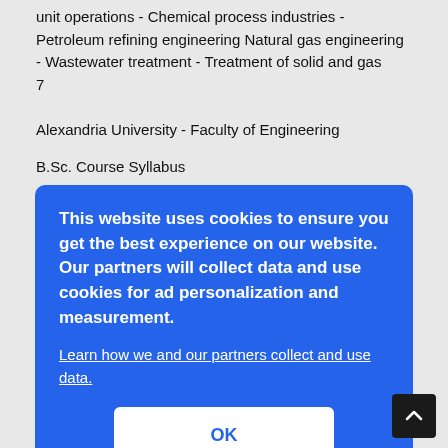unit operations - Chemical process industries - Petroleum refining engineering Natural gas engineering - Wastewater treatment - Treatment of solid and gas
7
Alexandria University - Faculty of Engineering
B.Sc. Course Syllabus
s – fluids nities, f Engineering.
[Figure (other): Cookie consent overlay with blue background, message about cookies and data collection, a learn more link, and an OK button]